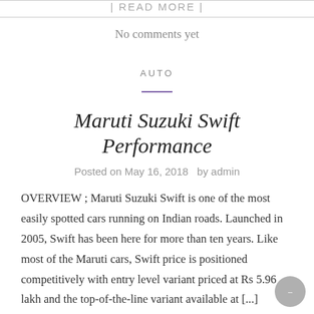| READ MORE |
No comments yet
AUTO
Maruti Suzuki Swift Performance
Posted on May 16, 2018  by admin
OVERVIEW ; Maruti Suzuki Swift is one of the most easily spotted cars running on Indian roads. Launched in 2005, Swift has been here for more than ten years. Like most of the Maruti cars, Swift price is positioned competitively with entry level variant priced at Rs 5.96 lakh and the top-of-the-line variant available at [...]